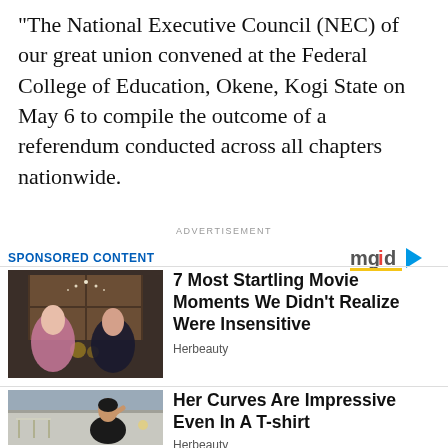“The National Executive Council (NEC) of our great union convened at the Federal College of Education, Okene, Kogi State on May 6 to compile the outcome of a referendum conducted across all chapters nationwide.
ADVERTISEMENT
SPONSORED CONTENT
[Figure (logo): mgid logo with play button icon]
[Figure (photo): Two people at a candlelit dinner scene from a movie, dark romantic setting]
7 Most Startling Movie Moments We Didn't Realize Were Insensitive
Herbeauty
[Figure (photo): Woman in black crop top and pants posing outdoors at night]
Her Curves Are Impressive Even In A T-shirt
Herbeauty